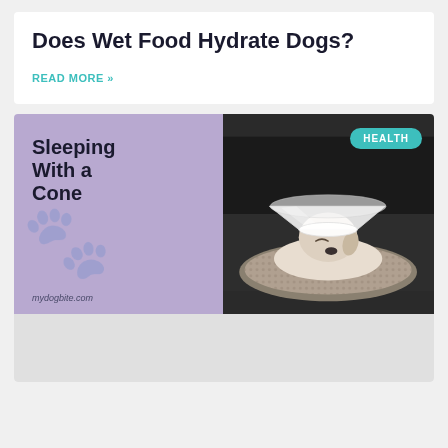Does Wet Food Hydrate Dogs?
READ MORE »
[Figure (illustration): Article card for 'Sleeping With a Cone' showing a dog wearing an Elizabethan cone collar sleeping in a round dog bed. Left panel is purple with text 'Sleeping With a Cone' and site URL. Right panel is a photo. HEALTH badge overlaid on top right.]
Sleeping With a Cone